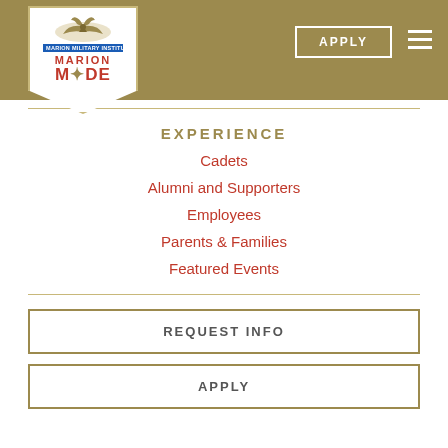Marion Made - Header navigation with APPLY button and hamburger menu
EXPERIENCE
Cadets
Alumni and Supporters
Employees
Parents & Families
Featured Events
REQUEST INFO
APPLY